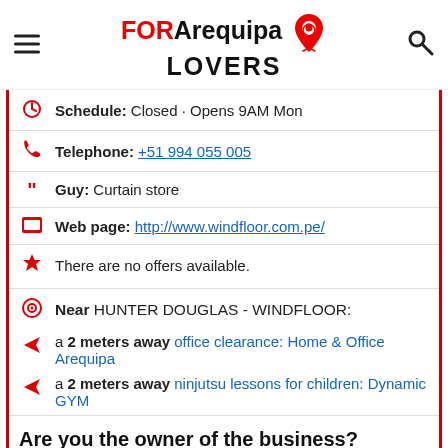FOR Arequipa LOVERS
Schedule: Closed · Opens 9AM Mon
Telephone: +51 994 055 005
Guy: Curtain store
Web page: http://www.windfloor.com.pe/
There are no offers available.
Near HUNTER DOUGLAS - WINDFLOOR:
a 2 meters away office clearance: Home & Office Arequipa
a 2 meters away ninjutsu lessons for children: Dynamic GYM
Are you the owner of the business? PROMOTE IT!